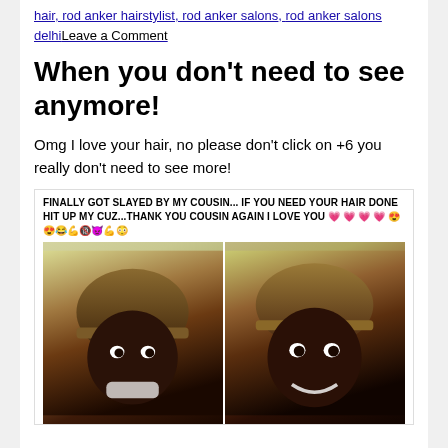hair, rod anker hairstylist, rod anker salons, rod anker salons delhiLeave a Comment
When you don't need to see anymore!
Omg I love your hair, no please don't click on +6 you really don't need to see more!
[Figure (photo): Social media post with caption 'FINALLY GOT SLAYED BY MY COUSIN... IF YOU NEED YOUR HAIR DONE HIT UP MY CUZ...THANK YOU COUSIN AGAIN I LOVE YOU' followed by emojis, and two side-by-side photos of a person with a distinctive bowl cut hairstyle]
FINALLY GOT SLAYED BY MY COUSIN... IF YOU NEED YOUR HAIR DONE HIT UP MY CUZ...THANK YOU COUSIN AGAIN I LOVE YOU 💗💗💗💗😍😍😂💪🔞👿💪😳